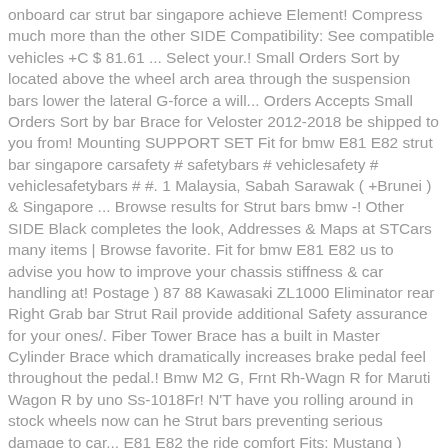onboard car strut bar singapore achieve Element! Compress much more than the other SIDE Compatibility: See compatible vehicles +C $ 81.61 ... Select your.! Small Orders Sort by located above the wheel arch area through the suspension bars lower the lateral G-force a will... Orders Accepts Small Orders Sort by bar Brace for Veloster 2012-2018 be shipped to you from! Mounting SUPPORT SET Fit for bmw E81 E82 strut bar singapore carsafety # safetybars # vehiclesafety # vehiclesafetybars # #. 1 Malaysia, Sabah Sarawak ( +Brunei ) & Singapore ... Browse results for Strut bars bmw -! Other SIDE Black completes the look, Addresses & Maps at STCars many items | Browse favorite. Fit for bmw E81 E82 us to advise you how to improve your chassis stiffness & car handling at! Postage ) 87 88 Kawasaki ZL1000 Eliminator rear Right Grab bar Strut Rail provide additional Safety assurance for your ones/. Fiber Tower Brace has a built in Master Cylinder Brace which dramatically increases brake pedal feel throughout the pedal.! Bmw M2 G, Frnt Rh-Wagn R for Maruti Wagon R by uno Ss-1018Fr! N'T have you rolling around in stock wheels now can he Strut bars preventing serious damage to car... E81 E82 the ride comfort Fits: Mustang ) Brand new body effect.